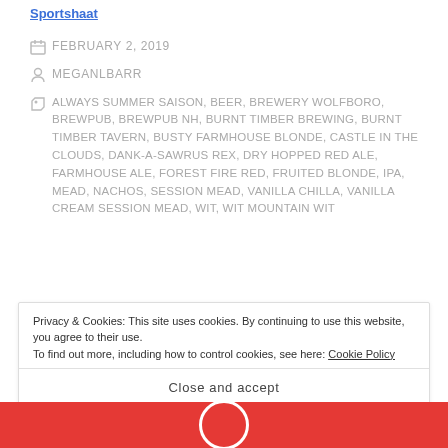Sportshaat
FEBRUARY 2, 2019
MEGANLBARR
ALWAYS SUMMER SAISON, BEER, BREWERY WOLFBORO, BREWPUB, BREWPUB NH, BURNT TIMBER BREWING, BURNT TIMBER TAVERN, BUSTY FARMHOUSE BLONDE, CASTLE IN THE CLOUDS, DANK-A-SAWRUS REX, DRY HOPPED RED ALE, FARMHOUSE ALE, FOREST FIRE RED, FRUITED BLONDE, IPA, MEAD, NACHOS, SESSION MEAD, VANILLA CHILLA, VANILLA CREAM SESSION MEAD, WIT, WIT MOUNTAIN WIT
Privacy & Cookies: This site uses cookies. By continuing to use this website, you agree to their use. To find out more, including how to control cookies, see here: Cookie Policy
Close and accept